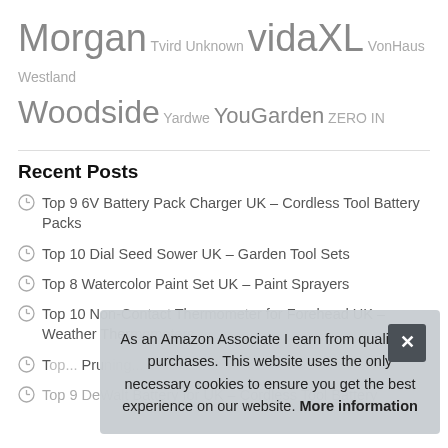Morgan Tvird Unknown vidaXL VonHaus Westland Woodside Yardwe YouGarden ZERO IN
Recent Posts
Top 9 6V Battery Pack Charger UK – Cordless Tool Battery Packs
Top 10 Dial Seed Sower UK – Garden Tool Sets
Top 8 Watercolor Paint Set UK – Paint Sprayers
Top 10 Non-Contact Thermometer for Forehead UK – Weather Thermometers
T... Pruning...
Top 9 DeWalt Battery for UK – Cordless Tool Battery
As an Amazon Associate I earn from qualifying purchases. This website uses the only necessary cookies to ensure you get the best experience on our website. More information